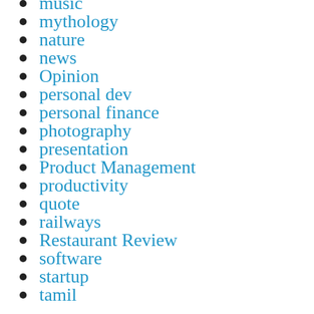music
mythology
nature
news
Opinion
personal dev
personal finance
photography
presentation
Product Management
productivity
quote
railways
Restaurant Review
software
startup
tamil